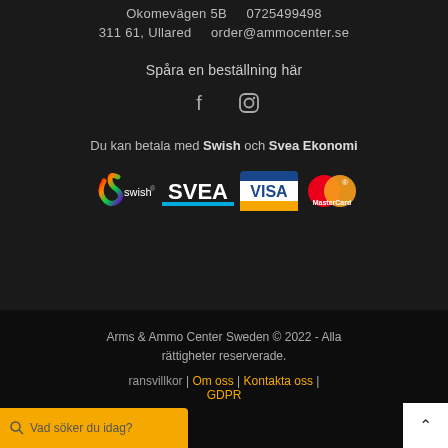Okomevägen 5B   0725499498
311 61, Ullared   order@ammocenter.se
Spåra en beställning här
[Figure (logo): Facebook and Instagram social media icons]
Du kan betala med Swish och Svea Ekonomi
[Figure (logo): Payment logos: Swish, SVEA, Visa, MasterCard]
Arms & Ammo Center Sweden © 2022 - Alla rättigheter reserverade.
ransvillkor | Om oss | Kontakta oss | GDPR